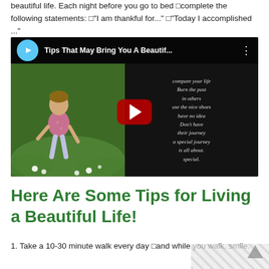beautiful life. Each night before you go to bed □complete the following statements: □"I am thankful for..." □"Today I accomplished ..."
[Figure (screenshot): YouTube video thumbnail showing a young girl in a floral dress in a field, with title 'Tips That May Bring You A Beautif...' and a play button overlay. Quote text visible on right side of thumbnail.]
Here Are Some Tips for Living a Beautiful Life!
1. Take a 10-30 minute walk every day □and while you walk, smile.